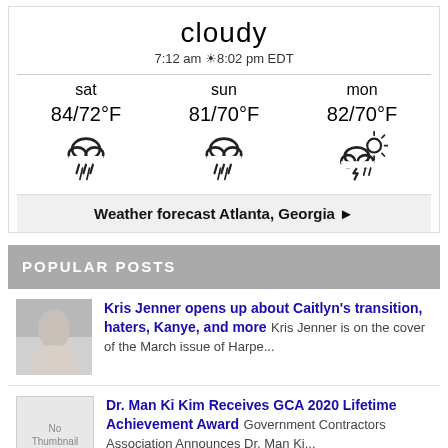cloudy
7:12 am ☀ 8:02 pm EDT
[Figure (infographic): Three-day weather forecast showing sat 84/72°F (rain), sun 81/70°F (rain), mon 82/70°F (thunderstorm/sun)]
Weather forecast Atlanta, Georgia ▶
POPULAR POSTS
Kris Jenner opens up about Caitlyn's transition, haters, Kanye, and more Kris Jenner is on the cover of the March issue of Harpe...
Dr. Man Ki Kim Receives GCA 2020 Lifetime Achievement Award Government Contractors Association Announces Dr. Man Ki...
Introducing The Unstoppable Portia